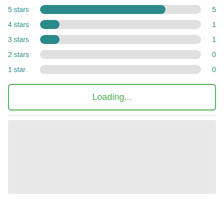[Figure (bar-chart): Star ratings distribution]
Loading...
[Figure (other): Gray placeholder box, likely an advertisement or loading image area]